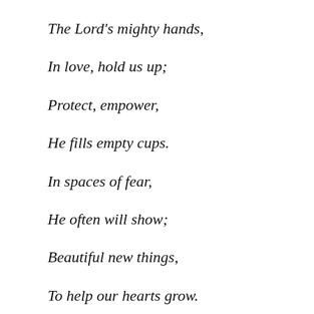The Lord's mighty hands,
In love, hold us up;
Protect, empower,
He fills empty cups.
In spaces of fear,
He often will show;
Beautiful new things,
To help our hearts grow.
Dear Heavenly Father, thank You that You are faithful to meet us wherever we are, be it in